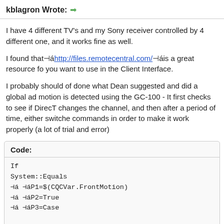kblagron Wrote: →
I have 4 different TV's and my Sony receiver controlled by 4 different one, and it works fine as well.
I found that ⊣á http://files.remotecentral.com/ ⊣á is a great resource for you want to use in the Client Interface.
I probably should of done what Dean suggested and did a global ac motion is detected using the GC-100 - It first checks to see if DirectT changes the channel, and then after a period of time, either switches commands in order to make it work properly (a lot of trial and error)
Code:
If
System::Equals
⊣á ⊣áP1=$(CQCVar.FrontMotion)
⊣á ⊣áP2=True
⊣á ⊣áP3=Case

If
System::Equals
⊣á ⊣áP1=$(DTV1.Some.Param)